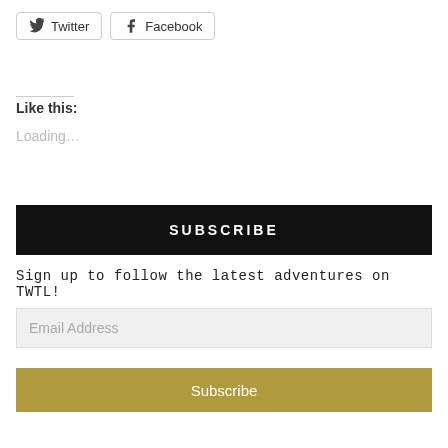Twitter
Facebook
Like this:
Loading...
SUBSCRIBE
Sign up to follow the latest adventures on TWTL!
Email Address
Subscribe